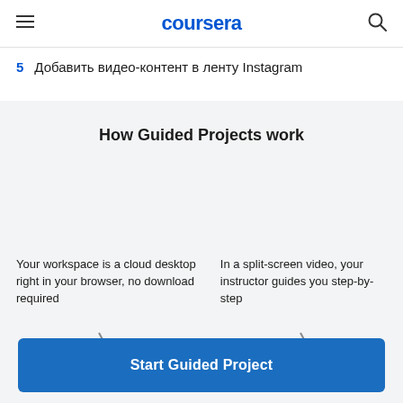coursera
5  Добавить видео-контент в ленту Instagram
How Guided Projects work
Your workspace is a cloud desktop right in your browser, no download required
In a split-screen video, your instructor guides you step-by-step
Start Guided Project